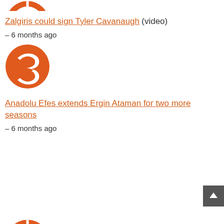[Figure (logo): Partial orange Euroleague ball logo cropped at top of page]
Zalgiris could sign Tyler Cavanaugh (video)
– 6 months ago
[Figure (logo): Orange Euroleague basketball logo — circular with stylized wing/leaf design]
Anadolu Efes extends Ergin Ataman for two more seasons
– 6 months ago
[Figure (logo): Partial orange Euroleague ball logo cropped at bottom of page]
[Figure (other): Back to top arrow button in dark grey]